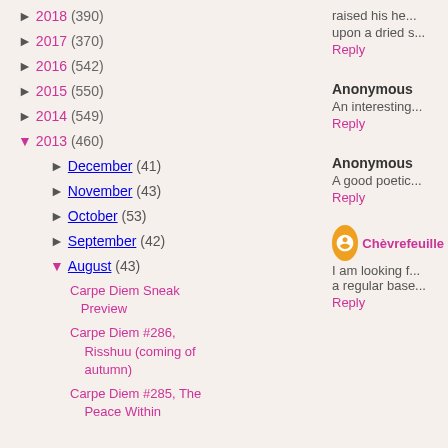► 2018 (390)
► 2017 (370)
► 2016 (542)
► 2015 (550)
► 2014 (549)
▼ 2013 (460)
► December (41)
► November (43)
► October (53)
► September (42)
▼ August (43)
Carpe Diem Sneak Preview
Carpe Diem #286, Risshuu (coming of autumn)
Carpe Diem #285, The Peace Within
raised his he... upon a dried s...
Reply
Anonymous
An interesting...
Reply
Anonymous
A good poetic...
Reply
Chèvrefeuille
I am looking f... a regular base...
Reply